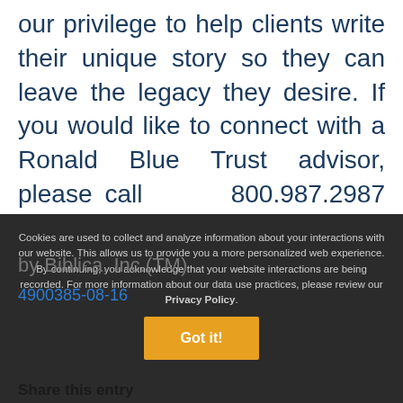our privilege to help clients write their unique story so they can leave the legacy they desire. If you would like to connect with a Ronald Blue Trust advisor, please call 800.987.2987 or email BLOG@RONBLUE.COM.
Be sure to visit our YouTube channel and follow us on LinkedIn!
Cookies are used to collect and analyze information about your interactions with our website. This allows us to provide you a more personalized web experience. By continuing, you acknowledge that your website interactions are being recorded. For more information about our data use practices, please review our Privacy Policy.
Got it!
by Biblica, Inc.(TM)
4900385-08-16
Share this entry